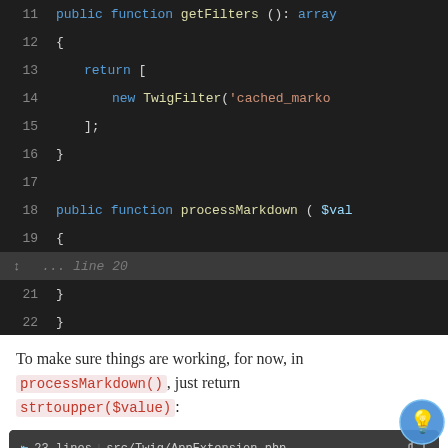[Figure (screenshot): Code editor screenshot showing PHP code lines 11-22, dark theme. Lines: 11: public function getFilters(): array, 12: {, 13: return [, 14: new TwigFilter('cached_marko, 15: ];, 16: }, 17: (blank), 18: public function processMarkdown($val, 19: {, 20: ... line 20 (highlighted), 21: }, 22: }]
To make sure things are working, for now, in processMarkdown(), just return strtoupper($value):
[Figure (screenshot): Code editor screenshot with header showing '23 lines | src/Twig/AppExtension.php'. Lines visible: fold indicator '... lines 1 - 8', 9: class AppExtension extends AbstractExt..., 10: {. Dark theme.]